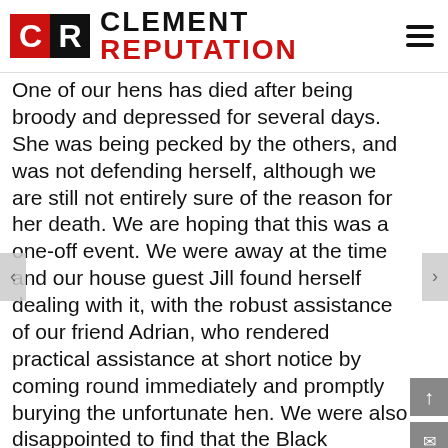CLEMENT REPUTATION
One of our hens has died after being broody and depressed for several days. She was being pecked by the others, and was not defending herself, although we are still not entirely sure of the reason for her death. We are hoping that this was a one-off event. We were away at the time and our house guest Jill found herself dealing with it, with the robust assistance of our friend Adrian, who rendered practical assistance at short notice by coming round immediately and promptly burying the unfortunate hen. We were also disappointed to find that the Black Redstart nest in the lodge had been